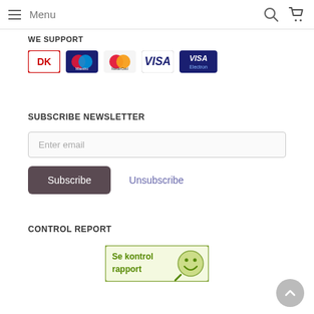Menu
WE SUPPORT
[Figure (logo): Payment method logos: DK, Maestro, MasterCard, VISA, VISA Electron]
SUBSCRIBE NEWSLETTER
Enter email
Subscribe    Unsubscribe
CONTROL REPORT
[Figure (logo): Se kontrol rapport badge with smiley face logo]